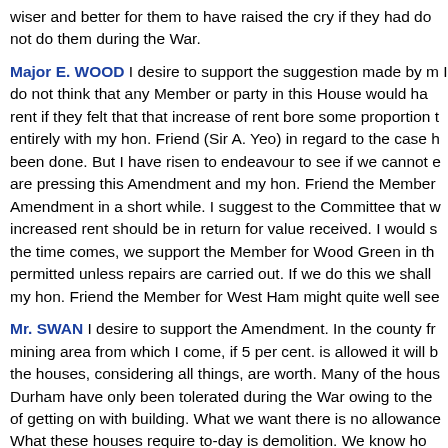wiser and better for them to have raised the cry if they had do not do them during the War.
Major E. WOOD I desire to support the suggestion made by m I do not think that any Member or party in this House would ha rent if they felt that that increase of rent bore some proportion t entirely with my hon. Friend (Sir A. Yeo) in regard to the case h been done. But I have risen to endeavour to see if we cannot e are pressing this Amendment and my hon. Friend the Member Amendment in a short while. I suggest to the Committee that w increased rent should be in return for value received. I would s the time comes, we support the Member for Wood Green in th permitted unless repairs are carried out. If we do this we shall my hon. Friend the Member for West Ham might quite well see
Mr. SWAN I desire to support the Amendment. In the county fr mining area from which I come, if 5 per cent. is allowed it will b the houses, considering all things, are worth. Many of the hous Durham have only been tolerated during the War owing to the of getting on with building. What we want there is no allowance What these houses require to-day is demolition. We know ho